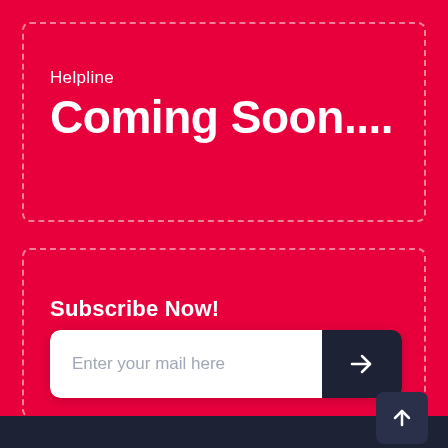Helpline
Coming Soon....
Subscribe Now!
[Figure (infographic): Email subscription input field with placeholder text 'Enter your mail here' and a dark arrow button on the right]